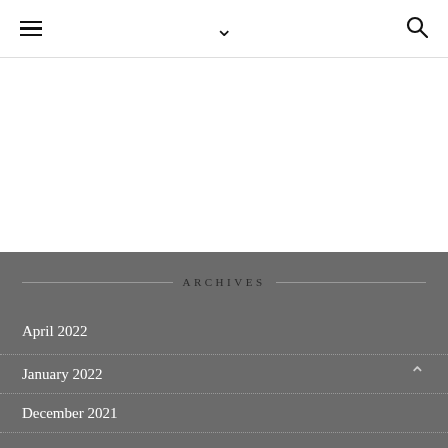Navigation bar with hamburger menu, chevron, and search icons
ARCHIVES
April 2022
January 2022
December 2021